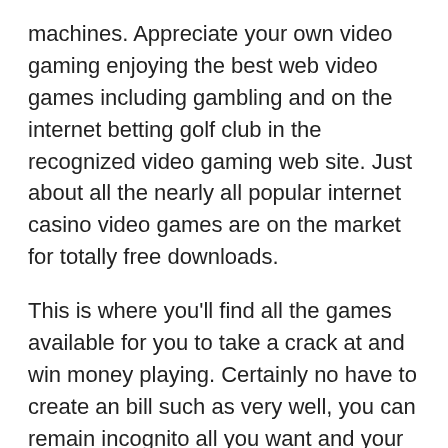machines. Appreciate your own video gaming enjoying the best web video games including gambling and on the internet betting golf club in the recognized video gaming web site. Just about all the nearly all popular internet casino video games are on the market for totally free downloads.
This is where you'll find all the games available for you to take a crack at and win money playing. Certainly no have to create an bill such as very well, you can remain incognito all you want and your privacy shall remain private perhaps on a shared unit.Casino position models online 100 % free game titles.Jinse Dao Monster.Smart Instances Give. International reach and international Match Solutions (IGT) has raised a gambling empire for itself in timeless slots, and that tradition continues with the sustained releases of 3-reel slots. 4. When young